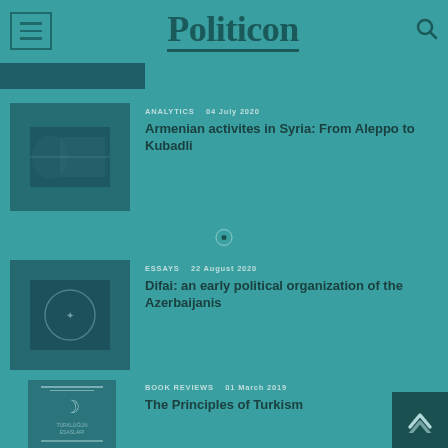Politicon
[Figure (screenshot): Partially visible image strip at top]
ANALYTICS   04 July 2020
Armenian activites in Syria: From Aleppo to Kubadli
[Figure (photo): People with flags, outdoor scene]
ESSAYS   22 August 2020
Difai: an early political organization of the Azerbaijanis
[Figure (photo): Decorative emblem or seal image]
BOOK REVIEWS   01 March 2019
The Principles of Turkism
[Figure (photo): Book cover with crescent symbol]